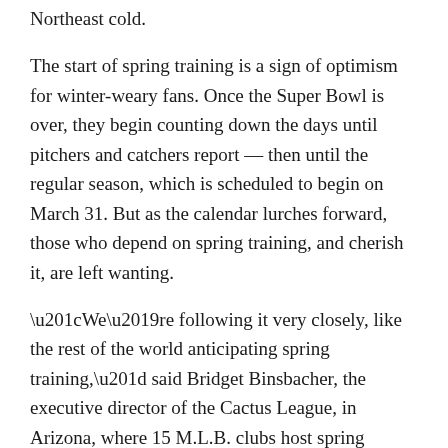Northeast cold.
The start of spring training is a sign of optimism for winter-weary fans. Once the Super Bowl is over, they begin counting down the days until pitchers and catchers report — then until the regular season, which is scheduled to begin on March 31. But as the calendar lurches forward, those who depend on spring training, and cherish it, are left wanting.
“We’re following it very closely, like the rest of the world anticipating spring training,” said Bridget Binsbacher, the executive director of the Cactus League, in Arizona, where 15 M.L.B. clubs host spring training. “But we’re not in the room, so we